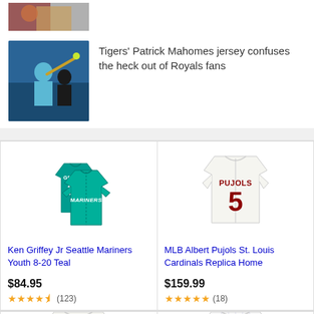[Figure (photo): Partial photo of a person at a baseball game, upper portion cropped]
Tigers' Patrick Mahomes jersey confuses the heck out of Royals fans
[Figure (photo): Baseball player in blue Royals uniform mid-swing]
[Figure (photo): Ken Griffey Jr Seattle Mariners teal jersey #24]
Ken Griffey Jr Seattle Mariners Youth 8-20 Teal
$84.95
★★★★½ (123)
[Figure (photo): Albert Pujols St. Louis Cardinals white jersey #5]
MLB Albert Pujols St. Louis Cardinals Replica Home
$159.99
★★★★★ (18)
[Figure (photo): Partial view of a baseball jersey at bottom left]
[Figure (photo): Partial view of a pinstripe baseball jersey at bottom right]